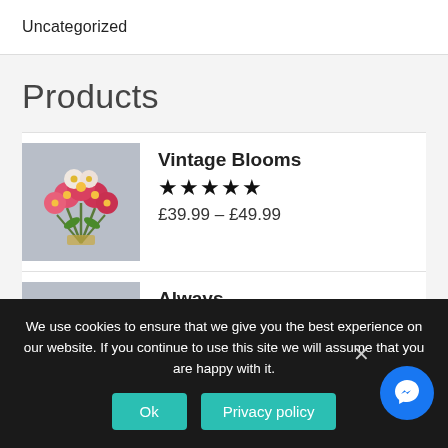Uncategorized
Products
Vintage Blooms
★★★★★
£39.99 – £49.99
Always
★★★★★
£34.99 – £44.99
We use cookies to ensure that we give you the best experience on our website. If you continue to use this site we will assume that you are happy with it.
Ok
Privacy policy